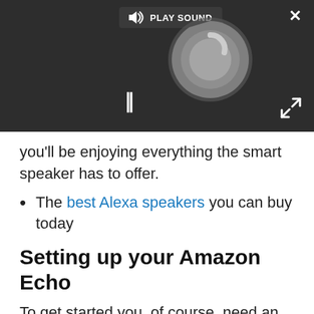[Figure (screenshot): Video player overlay with dark background showing a circular spinner/loading graphic, a PLAY SOUND button at the top, a pause button (||) at the bottom left, a close (×) button at the top right, and an expand button at the bottom right.]
you'll be enjoying everything the smart speaker has to offer.
The best Alexa speakers you can buy today
Setting up your Amazon Echo
To get started you, of course, need an Echo and whatever power adapter came with it. These speakers don't run on batteries, so make sure you've got the right power cable ready and waiting (and not some generic replacement).